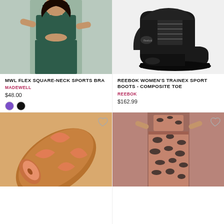[Figure (photo): Woman wearing dark green sports bra and matching high-waist leggings, posed on light background]
MWL FLEX SQUARE-NECK SPORTS BRA
MADEWELL
$48.00
[Figure (photo): Black Reebok women's work boot with composite toe, lace-up style on white background]
REEBOK WOMEN'S TRAINEX SPORT BOOTS - COMPOSITE TOE
REEBOK
$162.99
[Figure (photo): Rolled yoga mat with orange and salmon/pink camouflage floral pattern]
[Figure (photo): Woman wearing brown and black leopard print sports bra and leggings set]